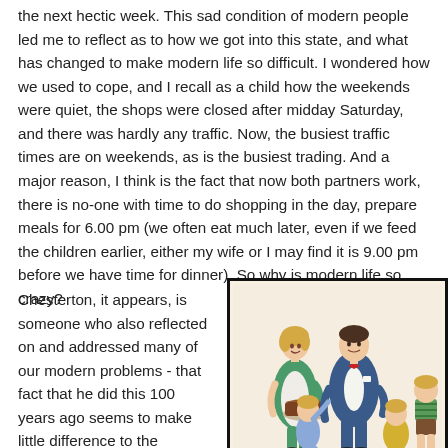the next hectic week. This sad condition of modern people led me to reflect as to how we got into this state, and what has changed to make modern life so difficult. I wondered how we used to cope, and I recall as a child how the weekends were quiet, the shops were closed after midday Saturday, and there was hardly any traffic. Now, the busiest traffic times are on weekends, as is the busiest trading. And a major reason, I think is the fact that now both partners work, there is no-one with time to do shopping in the day, prepare meals for 6.00 pm (we often eat much later, even if we feed the children earlier, either my wife or I may find it is 9.00 pm before we have time for dinner). So why is modern life so crazy?
Chesterton, it appears, is someone who also reflected on and addressed many of our modern problems - that fact that he did this 100 years ago seems to make little difference to the relevance of what he had to say. I think what...
[Figure (illustration): A retro 1950s style illustration of a family scene: a woman in a green blouse and white apron holding a cake, a man in a blue suit with bow tie, a young girl in a blue dress, and two children (blonde girl in yellow dress, boy in green striped shirt and brown shorts) reaching toward the cake.]